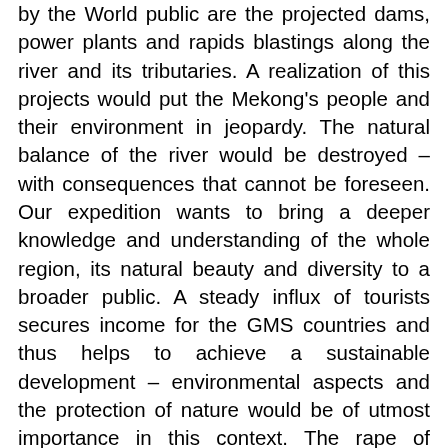by the World public are the projected dams, power plants and rapids blastings along the river and its tributaries. A realization of this projects would put the Mekong's people and their environment in jeopardy. The natural balance of the river would be destroyed – with consequences that cannot be foreseen. Our expedition wants to bring a deeper knowledge and understanding of the whole region, its natural beauty and diversity to a broader public. A steady influx of tourists secures income for the GMS countries and thus helps to achieve a sustainable development – environmental aspects and the protection of nature would be of utmost importance in this context. The rape of nature could be avoided.
One thing is for sure: The whole Mekong region is undergoing significant change. And perhaps our expedition offers one of the last chances to